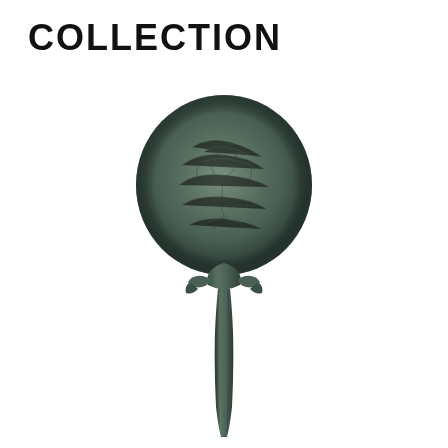COLLECTION
[Figure (photo): Ancient bronze hand mirror with a round circular disc top showing engraved decorative figural scene, decorated handle junction with small wings or flanges, and a long tapering handle. The object has a dark green-grey patina consistent with aged bronze.]